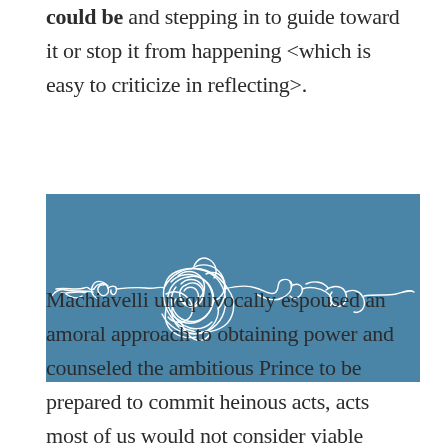could be and stepping in to guide toward it or stop it from happening <which is easy to criticize in reflecting>.
[Figure (illustration): Abstract white scribble/tangled line drawing on a steel blue background, resembling chaotic overlapping loops and curves emanating from a central tangled mass.]
Machiavelli unequivocally espoused an amoral approach to obtaining power and counseled the ambitious Prince to be prepared to commit heinous acts, acts most of us would not consider viable